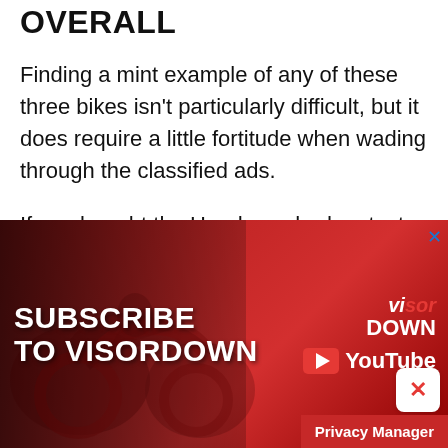OVERALL
Finding a mint example of any of these three bikes isn't particularly difficult, but it does require a little fortitude when wading through the classified ads.
If you bought the Honda we had on test at the screen price, I'd have to say that patience definitely isn't one of your strong points.
[Figure (screenshot): Advertisement banner for Visordown YouTube channel with red background, motorbike imagery, 'SUBSCRIBE TO VISORDOWN' text, Visordown logo, and YouTube play button with 'YouTube' text. A Privacy Manager button appears in the bottom right corner.]